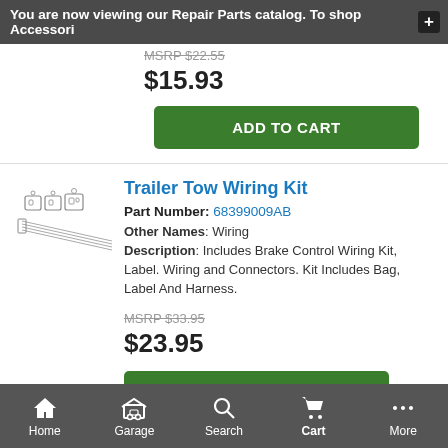You are now viewing our Repair Parts catalog. To shop Accessori
MSRP $22.55
$15.93
ADD TO CART
Trailer Tow Wiring Kit
Part Number: 68399009AB
Other Names: Wiring
Description: Includes Brake Control Wiring Kit, Label. Wiring and Connectors. Kit Includes Bag, Label And Harness.
MSRP $33.95
$23.95
ADD TO CART
Home  Garage  Search  Cart  More